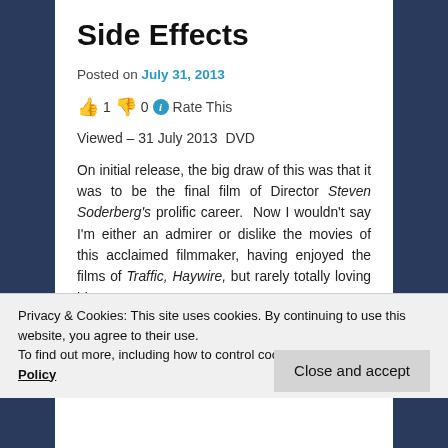Side Effects
Posted on July 31, 2013
👍 1 👎 0 ℹ Rate This
Viewed – 31 July 2013  DVD
On initial release, the big draw of this was that it was to be the final film of Director Steven Soderberg's prolific career.  Now I wouldn't say I'm either an admirer or dislike the movies of this acclaimed filmmaker, having enjoyed the films of Traffic, Haywire, but rarely totally loving his
Privacy & Cookies: This site uses cookies. By continuing to use this website, you agree to their use.
To find out more, including how to control cookies, see here: Cookie Policy
Close and accept